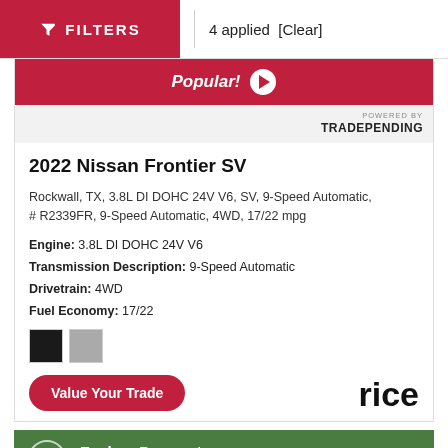FILTERS | 4 applied [Clear]
[Figure (screenshot): Popular! banner with play button and POWERED BY TRADEPENDING logo]
2022 Nissan Frontier SV
Rockwall, TX, 3.8L DI DOHC 24V V6, SV, 9-Speed Automatic, # R2339FR, 9-Speed Automatic, 4WD, 17/22 mpg
Engine: 3.8L DI DOHC 24V V6
Transmission Description: 9-Speed Automatic
Drivetrain: 4WD
Fuel Economy: 17/22
[Figure (other): Two color swatches: black and gray]
Value Your Trade
rice (partially visible price text)
Explore Payments From Real-Time Lenders